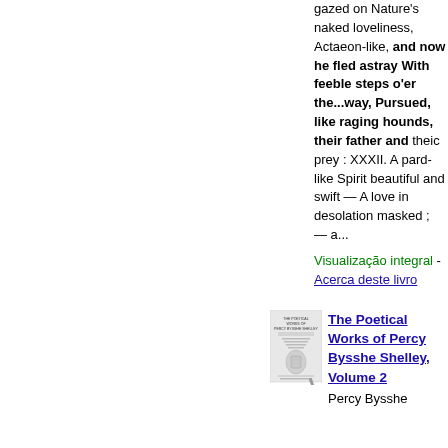gazed on Nature's naked loveliness, Actaeon-like, and now he fled astray With feeble steps o'er the...way, Pursued, like raging hounds, their father and theic prey : XXXII. A pard-like Spirit beautiful and swift — A love in desolation masked ; — a...
Visualização integral - Acerca deste livro
[Figure (illustration): Small thumbnail of book cover for The Poetical Works of Percy Bysshe Shelley, Volume 2]
The Poetical Works of Percy Bysshe Shelley, Volume 2
Percy Bysshe